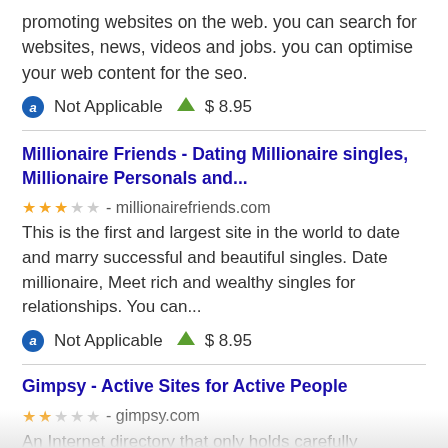promoting websites on the web. you can search for websites, news, videos and jobs. you can optimise your web content for the seo.
Not Applicable  $ 8.95
Millionaire Friends - Dating Millionaire singles, Millionaire Personals and...
★★★☆☆ - millionairefriends.com
This is the first and largest site in the world to date and marry successful and beautiful singles. Date millionaire, Meet rich and wealthy singles for relationships. You can...
Not Applicable  $ 8.95
Gimpsy - Active Sites for Active People
★★☆☆☆ - gimpsy.com
An Internet directory that only holds carefully